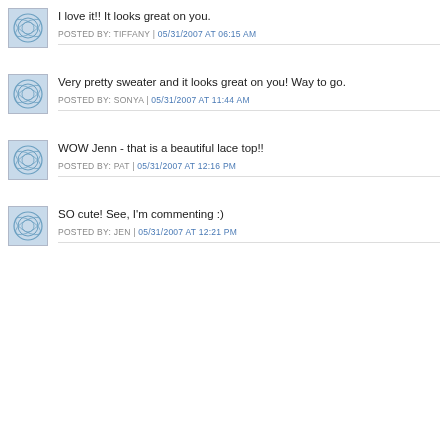I love it!! It looks great on you.
POSTED BY: TIFFANY | 05/31/2007 AT 06:15 AM
Very pretty sweater and it looks great on you! Way to go.
POSTED BY: SONYA | 05/31/2007 AT 11:44 AM
WOW Jenn - that is a beautiful lace top!!
POSTED BY: PAT | 05/31/2007 AT 12:16 PM
SO cute! See, I'm commenting :)
POSTED BY: JEN | 05/31/2007 AT 12:21 PM